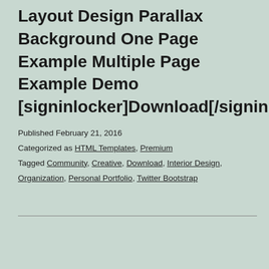CSS3 Twitter Bootstrap 3.0 100% Responsive Layout Design Parallax Background One Page Example Multiple Page Example Demo [signinlocker]Download[/signinlocker]
Published February 21, 2016
Categorized as HTML Templates, Premium
Tagged Community, Creative, Download, Interior Design, Organization, Personal Portfolio, Twitter Bootstrap